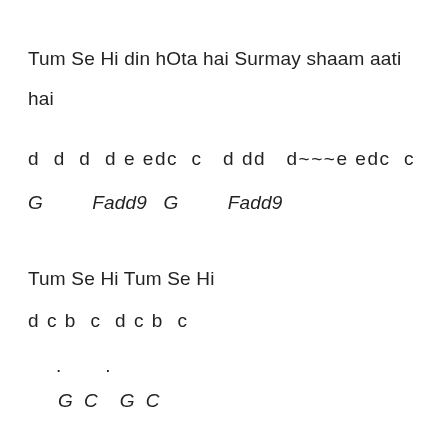Tum Se Hi din hOta hai Surmay shaam aati hai
d  d  d  d e edc  c  d dd  d~~~e edc  c
G         Fadd9   G          Fadd9
Tum Se Hi Tum Se Hi
d c b  c  d c b  c
.         .
G  C    G  C